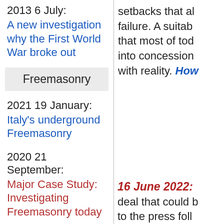2013 6 July: A new investigation why the First World War broke out
Freemasonry
2021 19 January: Italy's underground Freemasonry
2020 21 September: Major Case Study: Investigating Freemasonry today
2020 19 September: Major Case Study: The war against
setbacks that all... failure. A suitab... that most of tod... into concession... with reality. How
16 June 2022: deal that could ... to the press foll...